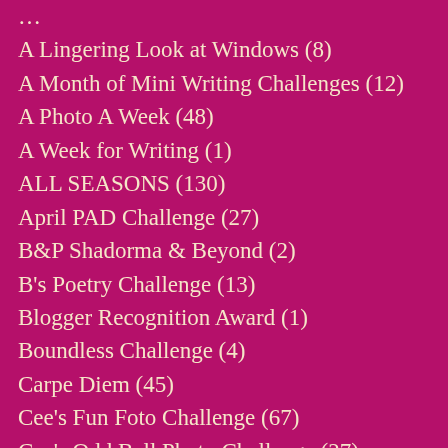A Lingering Look at Windows (8)
A Month of Mini Writing Challenges (12)
A Photo A Week (48)
A Week for Writing (1)
ALL SEASONS (130)
April PAD Challenge (27)
B&P Shadorma & Beyond (2)
B's Poetry Challenge (13)
Blogger Recognition Award (1)
Boundless Challenge (4)
Carpe Diem (45)
Cee's Fun Foto Challenge (67)
Cee's Odd Ball Photo Challenge (27)